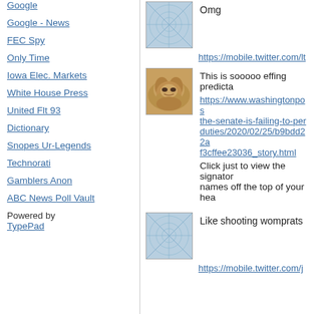Google
Google - News
FEC Spy
Only Time
Iowa Elec. Markets
White House Press
United Flt 93
Dictionary
Snopes Ur-Legends
Technorati
Gamblers Anon
ABC News Poll Vault
Powered by TypePad
[Figure (photo): Blue/white neural pattern thumbnail image]
Omg
https://mobile.twitter.com/lt
[Figure (photo): Photo of a golden/brown dog lying down with eyes drooping]
This is sooooo effing predicta
https://www.washingtonpos the-senate-is-failing-to-per duties/2020/02/25/b9bdd22a f3cffee23036_story.html
Click just to view the signator names off the top of your hea
[Figure (photo): Blue/white neural pattern thumbnail image]
Like shooting womprats
https://mobile.twitter.com/j